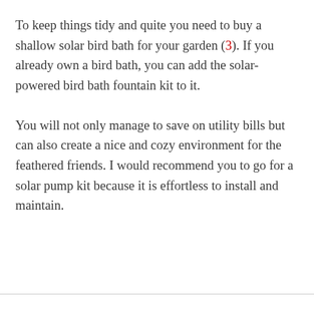To keep things tidy and quite you need to buy a shallow solar bird bath for your garden (3). If you already own a bird bath, you can add the solar-powered bird bath fountain kit to it.
You will not only manage to save on utility bills but can also create a nice and cozy environment for the feathered friends. I would recommend you to go for a solar pump kit because it is effortless to install and maintain.